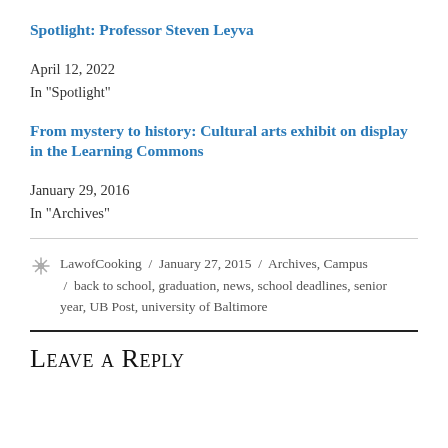Spotlight: Professor Steven Leyva
April 12, 2022
In "Spotlight"
From mystery to history: Cultural arts exhibit on display in the Learning Commons
January 29, 2016
In "Archives"
LawofCooking / January 27, 2015 / Archives, Campus / back to school, graduation, news, school deadlines, senior year, UB Post, university of Baltimore
Leave a Reply